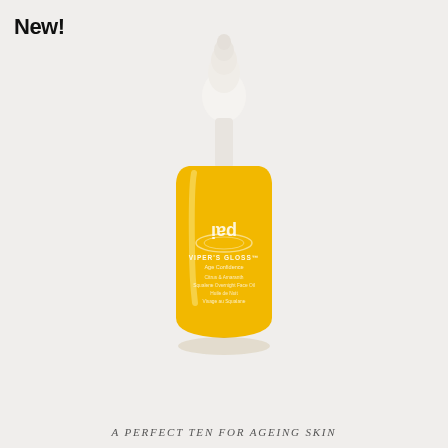New!
[Figure (photo): A bright yellow/amber dropper bottle of Pai Skincare Viper's Gloss Age Confidence Squalane Overnight Face Oil, with a white dropper cap, on a light grey background. The bottle label reads: pai, VIPER'S GLOSS™, Age Confidence, Citrus & Amaranth, Squalene Overnight Face Oil, Huile de Nuit, Visage au Squalane.]
A PERFECT TEN FOR AGEING SKIN